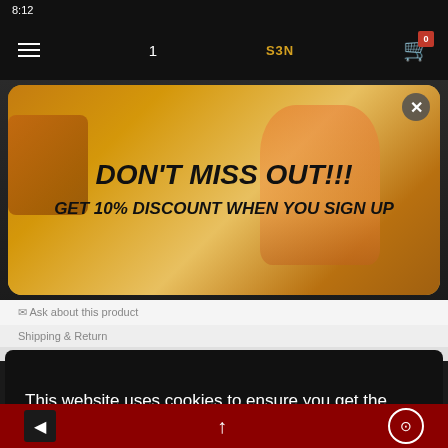8:12
[Figure (screenshot): Mobile e-commerce website with anime merchandise, dark navbar with hamburger menu, logo, cart icon with 0 badge]
[Figure (infographic): Promotional popup banner: DON'T MISS OUT!!! GET 10% DISCOUNT WHEN YOU SIGN UP, with close button, background shows anime character on couch]
This website uses cookies to ensure you get the best experience on our website.
Learn more
Got it!